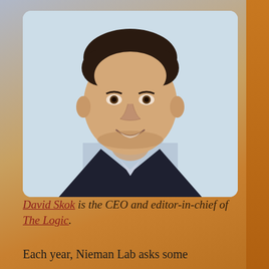[Figure (photo): Headshot of David Skok, a smiling middle-aged man with short dark hair, wearing a dark blazer and light blue shirt, against a light blue background.]
David Skok is the CEO and editor-in-chief of The Logic.
Each year, Nieman Lab asks some